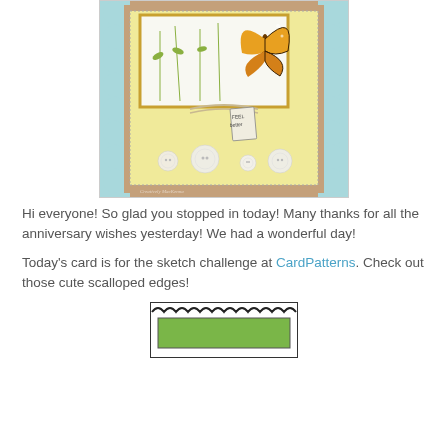[Figure (photo): A handmade greeting card featuring a monarch butterfly on a floral background, scalloped blue edges, a yellow panel with dotted border, a kraft background, twine bow, a small 'feel better' tag, and four white buttons arranged across the bottom of the card.]
Hi everyone! So glad you stopped in today! Many thanks for all the anniversary wishes yesterday! We had a wonderful day!
Today's card is for the sketch challenge at CardPatterns. Check out those cute scalloped edges!
[Figure (illustration): A small sketch/diagram preview of a card layout with scalloped top edge and a green rectangle in the center, shown at the bottom of the page.]